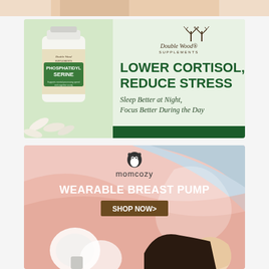[Figure (illustration): Partial top advertisement banner showing skin/body - cropped at top of page]
[Figure (illustration): Double Wood Supplements ad for Phosphatidyl Serine. Left side shows supplement bottle with capsules. Right side shows logo and text: LOWER CORTISOL, REDUCE STRESS / Sleep Better at Night, Focus Better During the Day]
[Figure (illustration): Momcozy wearable breast pump advertisement. Pink and blue pastel background with logo, headline WEARABLE BREAST PUMP, SHOP NOW> button, and product/baby imagery at bottom]